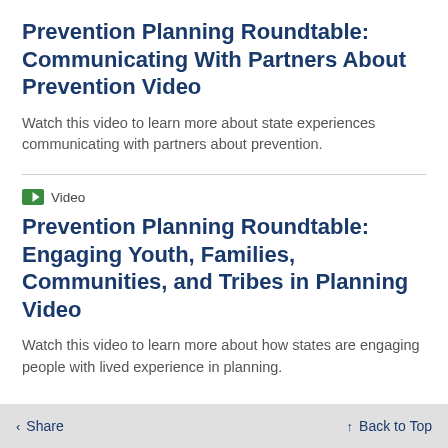Prevention Planning Roundtable: Communicating With Partners About Prevention Video
Watch this video to learn more about state experiences communicating with partners about prevention.
Video
Prevention Planning Roundtable: Engaging Youth, Families, Communities, and Tribes in Planning Video
Watch this video to learn more about how states are engaging people with lived experience in planning.
Share   Back to Top